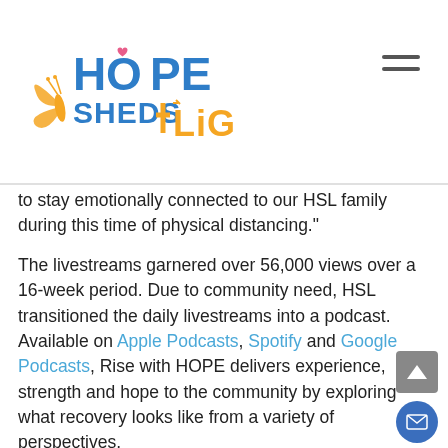[Figure (logo): Hope Sheds Light logo with butterfly and stylized text in blue and yellow/gold colors]
to stay emotionally connected to our HSL family during this time of physical distancing."
The livestreams garnered over 56,000 views over a 16-week period. Due to community need, HSL transitioned the daily livestreams into a podcast. Available on Apple Podcasts, Spotify and Google Podcasts, Rise with HOPE delivers experience, strength and hope to the community by exploring what recovery looks like from a variety of perspectives.